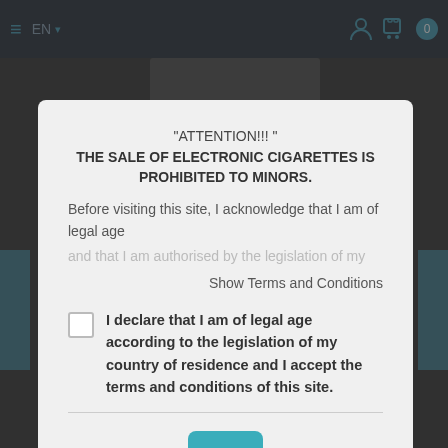≡ EN ▾
[Figure (screenshot): Website navigation bar with hamburger menu, EN language selector, user icon, cart icon, and badge showing 0]
"ATTENTION!!! "
THE SALE OF ELECTRONIC CIGARETTES IS PROHIBITED TO MINORS.
Before visiting this site, I acknowledge that I am of legal age and that I am authorised by the legislation of my country to
Show Terms and Conditions
I declare that I am of legal age according to the legislation of my country of residence and I accept the terms and conditions of this site.
OK